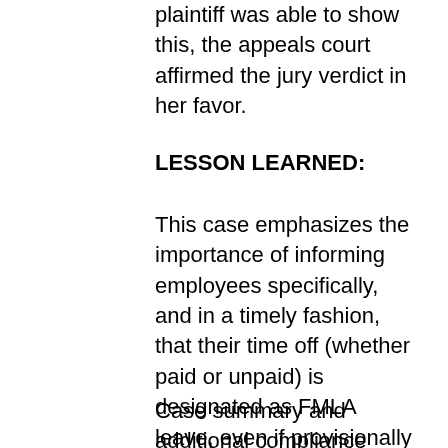plaintiff was able to show this, the appeals court affirmed the jury verdict in her favor.
LESSON LEARNED:
This case emphasizes the importance of informing employees specifically, and in a timely fashion, that their time off (whether paid or unpaid) is designated as FMLA leave, even if provisionally before they receive a proper health care certification form. Failure to notify opens an employer to liability for damages under the FMLA.
Case summary and additional compliance articles provided by Worklaw